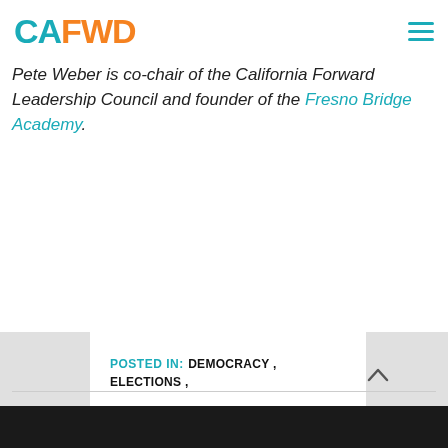CAFWD
Pete Weber is co-chair of the California Forward Leadership Council and founder of the Fresno Bridge Academy.
POSTED IN: DEMOCRACY , ELECTIONS , LEADERSHIP COUNCIL , LENNY MENDONCA , PETE WEBER , TOP TWO PRIMARY